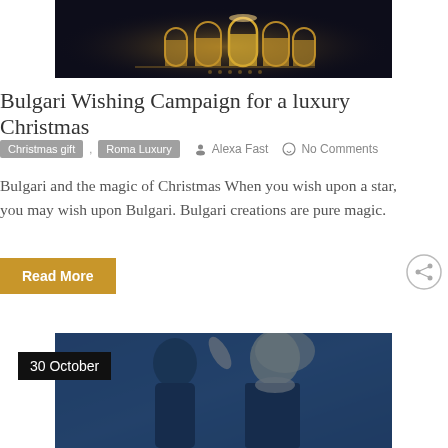[Figure (photo): Dark image showing illuminated doorways/arches with golden light against a dark background — Bulgari Christmas campaign visual]
Bulgari Wishing Campaign for a luxury Christmas
Christmas gift , Roma Luxury   Alexa Fast   No Comments
Bulgari and the magic of Christmas When you wish upon a star, you may wish upon Bulgari. Bulgari creations are pure magic.
Read More
[Figure (photo): Blue-tinted black and white vintage photo of a man and a glamorous blonde woman in an evening gown, romantic scene — 30 October post]
30 October